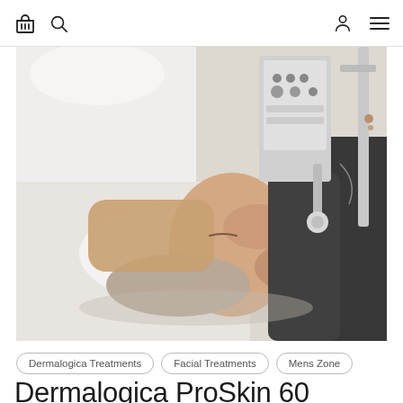Navigation bar with basket, search, account, and menu icons
[Figure (photo): A woman lying on a treatment bed receiving a facial treatment from an esthetician. Medical/cosmetic equipment is visible in the background. The esthetician's hands are working on the woman's face and jaw area.]
Dermalogica Treatments
Facial Treatments
Mens Zone
Dermalogica ProSkin 60